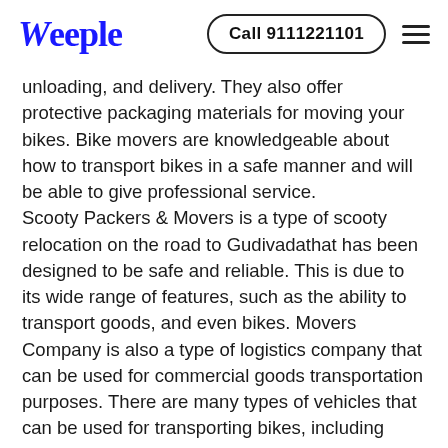Weeple | Call 9111221101
unloading, and delivery. They also offer protective packaging materials for moving your bikes. Bike movers are knowledgeable about how to transport bikes in a safe manner and will be able to give professional service. Scooty Packers & Movers is a type of scooty relocation on the road to Gudivadathat has been designed to be safe and reliable. This is due to its wide range of features, such as the ability to transport goods, and even bikes. Movers Company is also a type of logistics company that can be used for commercial goods transportation purposes. There are many types of vehicles that can be used for transporting bikes, including vans